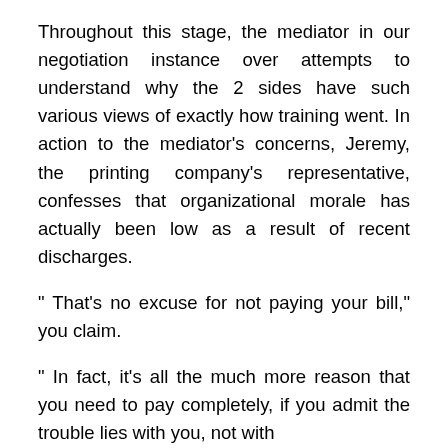Throughout this stage, the mediator in our negotiation instance over attempts to understand why the 2 sides have such various views of exactly how training went. In action to the mediator's concerns, Jeremy, the printing company's representative, confesses that organizational morale has actually been low as a result of recent discharges.
" That's no excuse for not paying your bill," you claim.
" In fact, it's all the much more reason that you need to pay completely, if you admit the trouble lies with you, not with